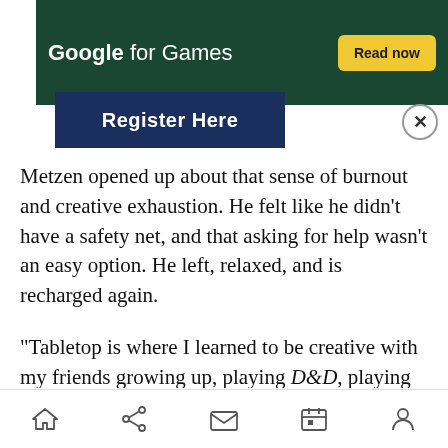[Figure (screenshot): Google for Games advertisement banner with dark green background, white text 'Google for Games', yellow 'Read now' button, and a dark blue 'Register Here' sub-banner below]
Metzen opened up about that sense of burnout and creative exhaustion. He felt like he didn't have a safety net, and that asking for help wasn't an easy option. He left, relaxed, and is recharged again.
“Tabletop is where I learned to be creative with my friends growing up, playing D&D, playing Warhammer,” he said. “Loving these ideas and playing these games in the same space as my best friends. Those are some of my most cherished memories. At 47, I come back to that. Even after
Home | Share | Mail | Calendar | Profile